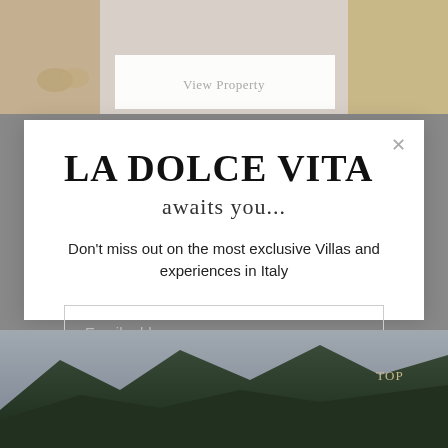[Figure (photo): Top background image showing a luxury property interior with warm tones, with a 'View Property' button overlaid]
LA DOLCE VITA
awaits you...
Don't miss out on the most exclusive Villas and experiences in Italy
Email address
Subscribe
[Figure (photo): Bottom background image showing mountains and a historic Italian town with 'TOP' text in lower right]